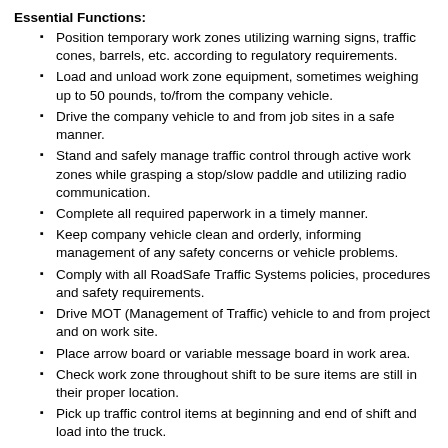Essential Functions:
Position temporary work zones utilizing warning signs, traffic cones, barrels, etc. according to regulatory requirements.
Load and unload work zone equipment, sometimes weighing up to 50 pounds, to/from the company vehicle.
Drive the company vehicle to and from job sites in a safe manner.
Stand and safely manage traffic control through active work zones while grasping a stop/slow paddle and utilizing radio communication.
Complete all required paperwork in a timely manner.
Keep company vehicle clean and orderly, informing management of any safety concerns or vehicle problems.
Comply with all RoadSafe Traffic Systems policies, procedures and safety requirements.
Drive MOT (Management of Traffic) vehicle to and from project and on work site.
Place arrow board or variable message board in work area.
Check work zone throughout shift to be sure items are still in their proper location.
Pick up traffic control items at beginning and end of shift and load into the truck.
Drive TMA (Truck Mounted Attenuator) vehicle to and from project and on work site to protect workers and work zone.
Install, remove and reset delineators, signs, posts and supports.